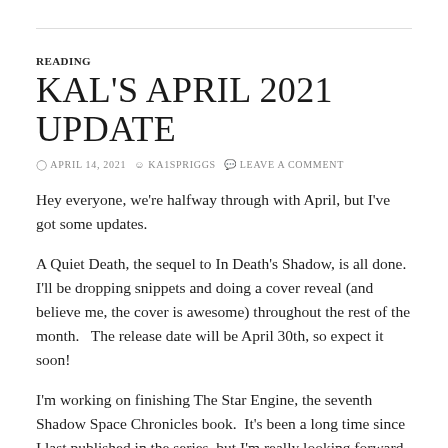READING
KAL'S APRIL 2021 UPDATE
APRIL 14, 2021  KA1SPRIGGS  LEAVE A COMMENT
Hey everyone, we're halfway through with April, but I've got some updates.
A Quiet Death, the sequel to In Death's Shadow, is all done.  I'll be dropping snippets and doing a cover reveal (and believe me, the cover is awesome) throughout the rest of the month.   The release date will be April 30th, so expect it soon!
I'm working on finishing The Star Engine, the seventh Shadow Space Chronicles book.  It's been a long time since I last published in the series, but I'm really looking forward to